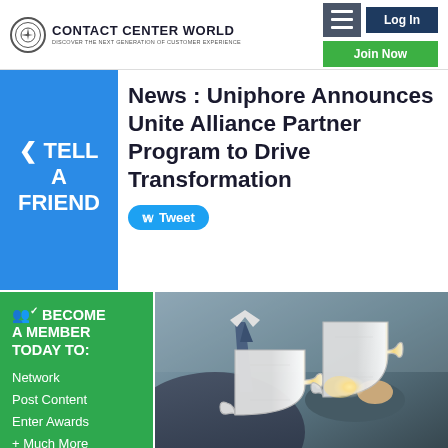Contact Center World — Discover The Next Generation Of Customer Experience | Log In | Join Now
News : Uniphore Announces Unite Alliance Partner Program to Drive Transformation
TELL A FRIEND
Tweet
BECOME A MEMBER TODAY TO: Network Post Content Enter Awards + Much More
[Figure (photo): Businessman in suit holding two white jigsaw puzzle pieces connecting together, with bright light at connection point.]